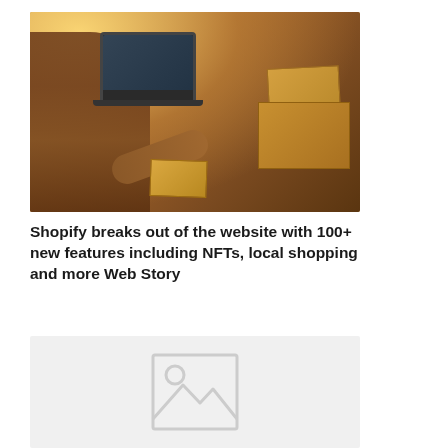[Figure (photo): Person writing on a small cardboard package next to a laptop, with several stacked cardboard shipping boxes on a wooden table, warm orange toned lighting]
Shopify breaks out of the website with 100+ new features including NFTs, local shopping and more Web Story
[Figure (photo): Image placeholder with a generic image icon (rectangle with circle and mountain shapes) on a light grey background]